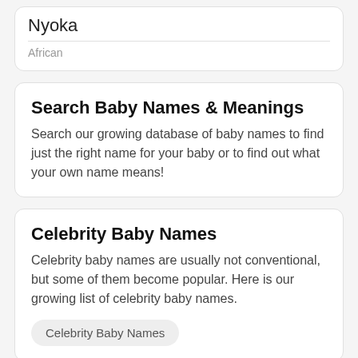Nyoka
African
Search Baby Names & Meanings
Search our growing database of baby names to find just the right name for your baby or to find out what your own name means!
Celebrity Baby Names
Celebrity baby names are usually not conventional, but some of them become popular. Here is our growing list of celebrity baby names.
Celebrity Baby Names